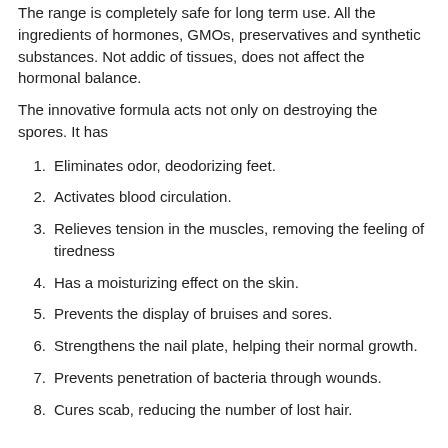The range is completely safe for long term use. All the ingredients of hormones, GMOs, preservatives and synthetic substances. Not addic of tissues, does not affect the hormonal balance.
The innovative formula acts not only on destroying the spores. It has
Eliminates odor, deodorizing feet.
Activates blood circulation.
Relieves tension in the muscles, removing the feeling of tiredness
Has a moisturizing effect on the skin.
Prevents the display of bruises and sores.
Strengthens the nail plate, helping their normal growth.
Prevents penetration of bacteria through wounds.
Cures scab, reducing the number of lost hair.